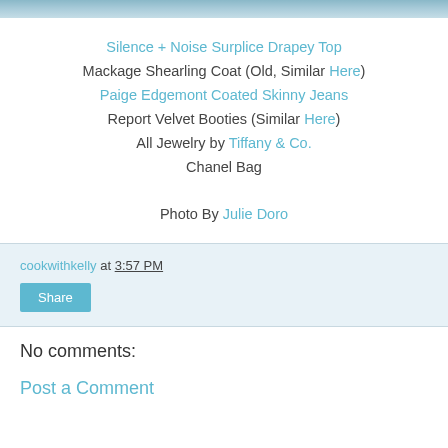[Figure (photo): Partial photo strip at top of page showing outdoor/fashion scene]
Silence + Noise Surplice Drapey Top
Mackage Shearling Coat (Old, Similar Here)
Paige Edgemont Coated Skinny Jeans
Report Velvet Booties (Similar Here)
All Jewelry by Tiffany & Co.
Chanel Bag

Photo By Julie Doro
cookwithkelly at 3:57 PM
Share
No comments:
Post a Comment